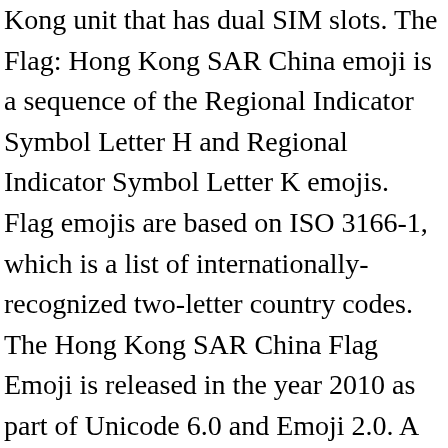Kong unit that has dual SIM slots. The Flag: Hong Kong SAR China emoji is a sequence of the Regional Indicator Symbol Letter H and Regional Indicator Symbol Letter K emojis. Flag emojis are based on ISO 3166-1, which is a list of internationally-recognized two-letter country codes. The Hong Kong SAR China Flag Emoji is released in the year 2010 as part of Unicode 6.0 and Emoji 2.0. A former British colony, now a special administrative region of China.In other words, it is a densely populated and dynamically